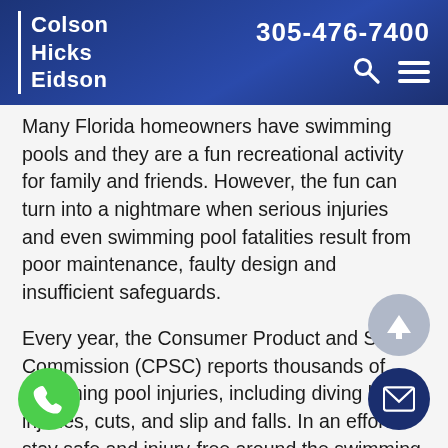Colson Hicks Eidson | 305-476-7400
Many Florida homeowners have swimming pools and they are a fun recreational activity for family and friends. However, the fun can turn into a nightmare when serious injuries and even swimming pool fatalities result from poor maintenance, faulty design and insufficient safeguards.
Every year, the Consumer Product and Safety Commission (CPSC) reports thousands of swimming pool injuries, including diving board injuries, cuts, and slip and falls. In an effort to stay safe and injury-free around the swimming pool this summer, the CPSC [provided] the following tips: